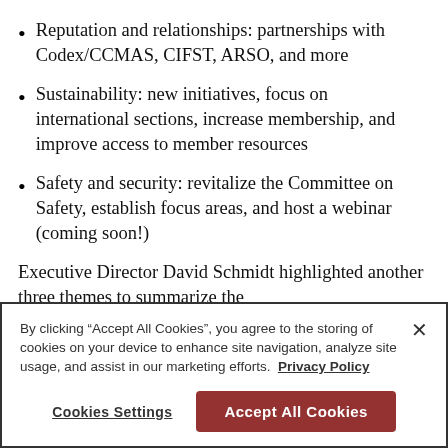Reputation and relationships: partnerships with Codex/CCMAS, CIFST, ARSO, and more
Sustainability: new initiatives, focus on international sections, increase membership, and improve access to member resources
Safety and security: revitalize the Committee on Safety, establish focus areas, and host a webinar (coming soon!)
Executive Director David Schmidt highlighted another three themes to summarize the
By clicking “Accept All Cookies”, you agree to the storing of cookies on your device to enhance site navigation, analyze site usage, and assist in our marketing efforts.  Privacy Policy
Cookies Settings
Accept All Cookies